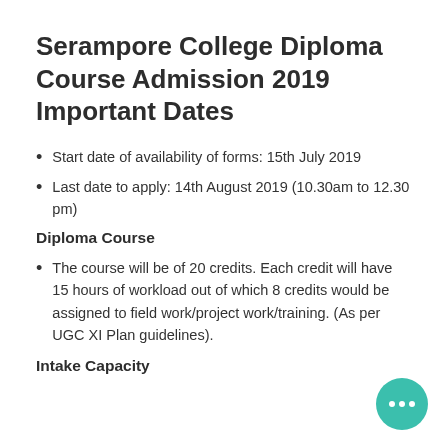Serampore College Diploma Course Admission 2019 Important Dates
Start date of availability of forms: 15th July 2019
Last date to apply: 14th August 2019 (10.30am to 12.30 pm)
Diploma Course
The course will be of 20 credits. Each credit will have 15 hours of workload out of which 8 credits would be assigned to field work/project work/training. (As per UGC XI Plan guidelines).
Intake Capacity